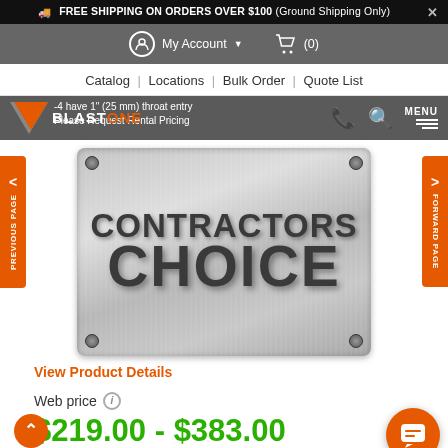FREE SHIPPING ON ORDERS OVER $100 (Ground Shipping Only)
My Account (0)
Catalog | Locations | Bulk Order | Quote List
-4 have 1" (25 mm) throat entry
Please Request Rental Pricing
[Figure (photo): Contractors Choice metallic badge/logo image with bolted corners]
View Product Details
Web price i
$219.00 - $383.00
Ship to 07094